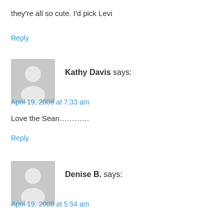they're all so cute. I'd pick Levi
Reply
[Figure (illustration): Generic user avatar placeholder - grey silhouette of a person on light grey background]
Kathy Davis says:
April 19, 2008 at 7:33 am
Love the Sean............
Reply
[Figure (illustration): Generic user avatar placeholder - grey silhouette of a person on light grey background]
Denise B. says:
April 19, 2008 at 5:54 am